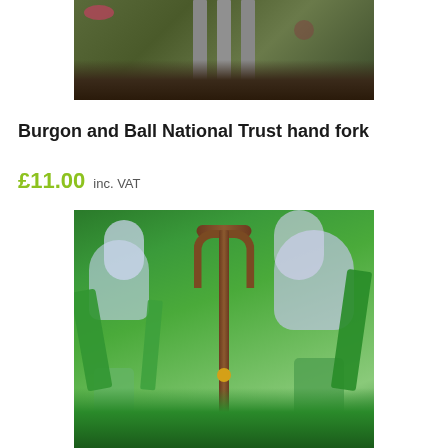[Figure (photo): Top portion of a garden fork with metal tines visible against a dark soil background]
Burgon and Ball National Trust hand fork
£11.00  inc. VAT
[Figure (photo): A Burgon and Ball National Trust hand fork with a wooden D-handle, shown standing upright against a background of white and blue flowers and green foliage]